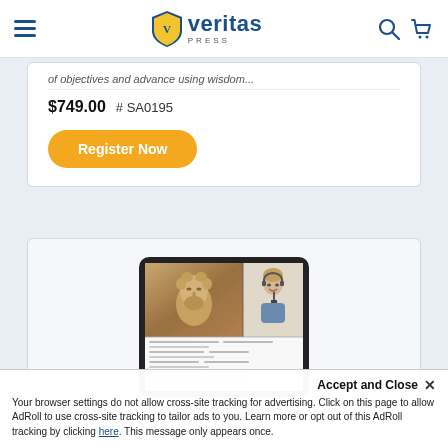Veritas Press
of objectives and advance using wisdom...
$749.00 # SA0195
Register Now
[Figure (screenshot): Tablet mockup showing a Roman statue face alongside a teacher with headset, and course content below]
Accept and Close ×
Your browser settings do not allow cross-site tracking for advertising. Click on this page to allow AdRoll to use cross-site tracking to tailor ads to you. Learn more or opt out of this AdRoll tracking by clicking here. This message only appears once.